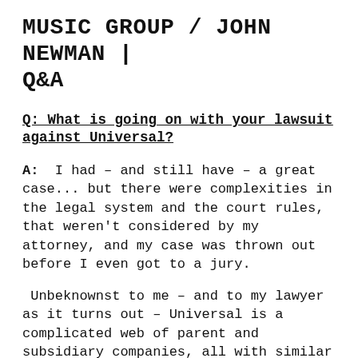MUSIC GROUP / JOHN NEWMAN | Q&A
Q: What is going on with your lawsuit against Universal?
A: I had – and still have – a great case... but there were complexities in the legal system and the court rules, that weren't considered by my attorney, and my case was thrown out before I even got to a jury.
Unbeknownst to me – and to my lawyer as it turns out – Universal is a complicated web of parent and subsidiary companies, all with similar